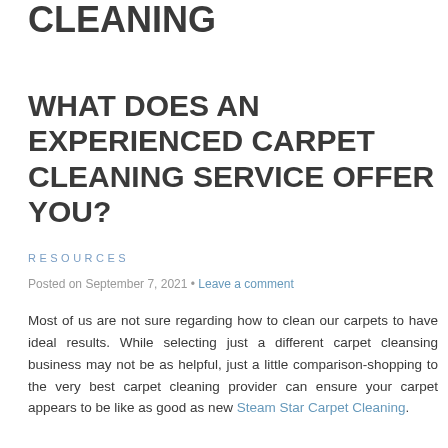CLEANING
WHAT DOES AN EXPERIENCED CARPET CLEANING SERVICE OFFER YOU?
RESOURCES
Posted on September 7, 2021 • Leave a comment
Most of us are not sure regarding how to clean our carpets to have ideal results. While selecting just a different carpet cleansing business may not be as helpful, just a little comparison-shopping to the very best carpet cleaning provider can ensure your carpet appears to be like as good as new Steam Star Carpet Cleaning.